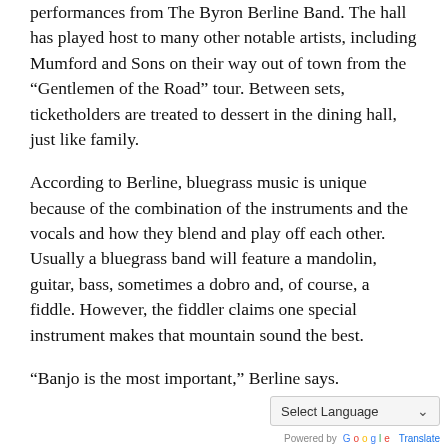performances from The Byron Berline Band. The hall has played host to many other notable artists, including Mumford and Sons on their way out of town from the “Gentlemen of the Road” tour. Between sets, ticketholders are treated to dessert in the dining hall, just like family.
According to Berline, bluegrass music is unique because of the combination of the instruments and the vocals and how they blend and play off each other. Usually a bluegrass band will feature a mandolin, guitar, bass, sometimes a dobro and, of course, a fiddle. However, the fiddler claims one special instrument makes that mountain sound the best.
“Banjo is the most important,” Berline says.